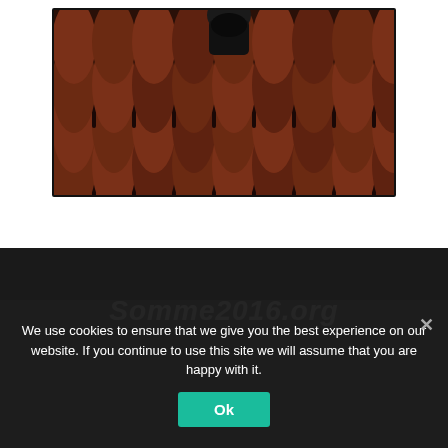[Figure (photo): A person on a roof with brown terracotta roof tiles, shown from above. The image is bordered with a thick black frame.]
Somme2016.org
We use cookies to ensure that we give you the best experience on our website. If you continue to use this site we will assume that you are happy with it.